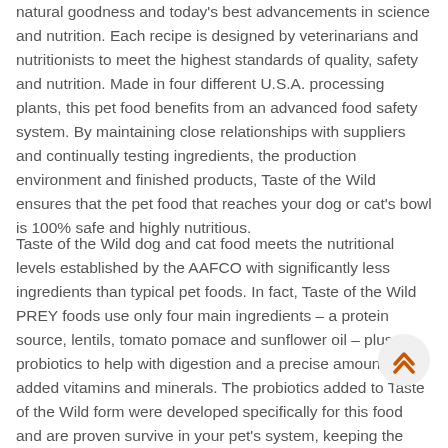natural goodness and today's best advancements in science and nutrition. Each recipe is designed by veterinarians and nutritionists to meet the highest standards of quality, safety and nutrition. Made in four different U.S.A. processing plants, this pet food benefits from an advanced food safety system. By maintaining close relationships with suppliers and continually testing ingredients, the production environment and finished products, Taste of the Wild ensures that the pet food that reaches your dog or cat's bowl is 100% safe and highly nutritious.
Taste of the Wild dog and cat food meets the nutritional levels established by the AAFCO with significantly less ingredients than typical pet foods. In fact, Taste of the Wild PREY foods use only four main ingredients – a protein source, lentils, tomato pomace and sunflower oil – plus probiotics to help with digestion and a precise amount of added vitamins and minerals. The probiotics added to Taste of the Wild form were developed specifically for this food and are proven survive in your pet's system, keeping the gastrointestinal tract healthy and thus effectively maintaining the overall health of your dog or cat. Taste of the Wild's simple approach offers the benefits of a limited ingredient diet, but your pet won't have to